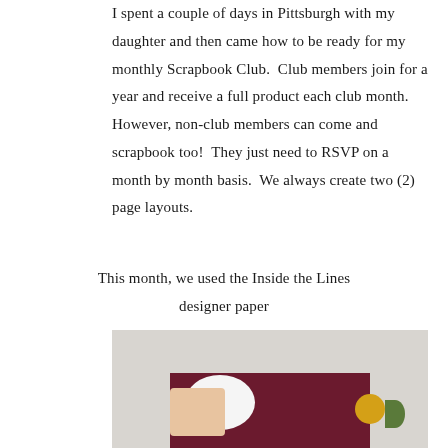I spent a couple of days in Pittsburgh with my daughter and then came how to be ready for my monthly Scrapbook Club.  Club members join for a year and receive a full product each club month.  However, non-club members can come and scrapbook too!  They just need to RSVP on a month by month basis.  We always create two (2) page layouts.
This month, we used the Inside the Lines designer paper
[Figure (photo): Photo showing scrapbook layouts on a maroon background with floral designer paper, white oval shape, and yellow flower embellishment, displayed on a light grey surface.]